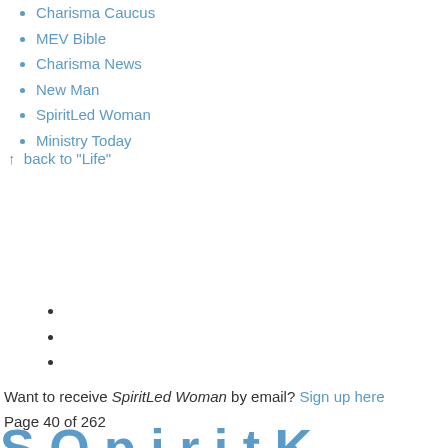Charisma Caucus
MEV Bible
Charisma News
New Man
SpiritLed Woman
Ministry Today
↑  back to "Life"
Want to receive SpiritLed Woman by email? Sign up here
Page 40 of 262
S O p i r i t K e y t o T o...